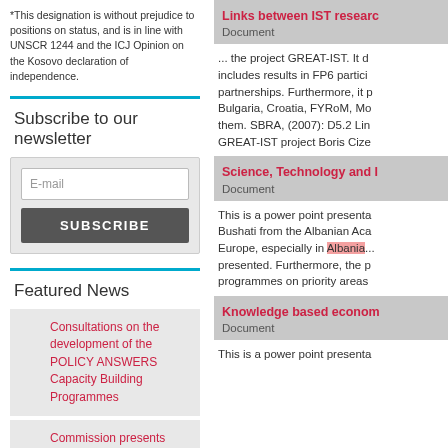*This designation is without prejudice to positions on status, and is in line with UNSCR 1244 and the ICJ Opinion on the Kosovo declaration of independence.
Subscribe to our newsletter
E-mail
SUBSCRIBE
Featured News
Consultations on the development of the POLICY ANSWERS Capacity Building Programmes
Commission presents new European Innovation Agenda to spearhead the new innovation wave
Links between IST research
Document
... the project GREAT-IST. It d includes results in FP6 partici partnerships. Furthermore, it p Bulgaria, Croatia, FYRoM, Mo them. SBRA, (2007): D5.2 Lin GREAT-IST project Boris Cize
Science, Technology and I
Document
This is a power point presenta Bushati from the Albanian Aca Europe, especially in Albania. presented. Furthermore, the p programmes on priority areas
Knowledge based econom
Document
This is a power point presenta